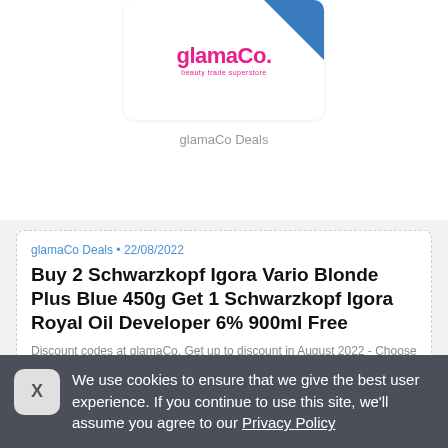[Figure (logo): glamaCo beauty trade superstore logo with pink text and blue triangle in top-right corner]
glamaCo Deals
glamaCo Deals • 22/08/2022
Buy 2 Schwarzkopf Igora Vario Blonde Plus Blue 450g Get 1 Schwarzkopf Igora Royal Oil Developer 6% 900ml Free
Discount codes at glamaCo. Get up to discount in August 2022 - Choose from offers and voucher codes at glamaCo. Find your discount code for glamaCo and save money. 100% TESTED 2022!
We use cookies to ensure that we give the best user experience. If you continue to use this site, we'll assume you agree to our Privacy Policy